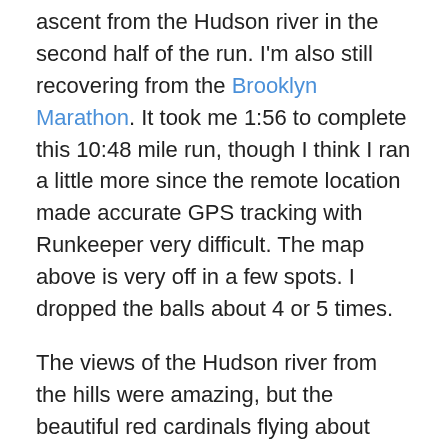ascent from the Hudson river in the second half of the run. I'm also still recovering from the Brooklyn Marathon. It took me 1:56 to complete this 10:48 mile run, though I think I ran a little more since the remote location made accurate GPS tracking with Runkeeper very difficult. The map above is very off in a few spots. I dropped the balls about 4 or 5 times.
The views of the Hudson river from the hills were amazing, but the beautiful red cardinals flying about along the trail were priceless. I can't get over how many I saw, and how lively their birdsong was. It was like they were greeting me or trying to accompany me as I ran. Very strangely, the same thing happened the day before Thanksgiving in a very different location(in the Bronx of all places). It's like they knew I wasn't eating one of their distant relatives! Or maybe my juggling attracts them